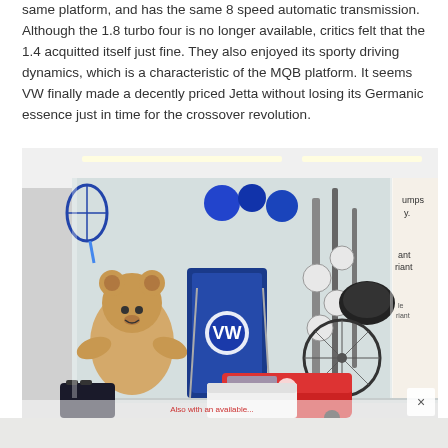same platform, and has the same 8 speed automatic transmission. Although the 1.8 turbo four is no longer available, critics felt that the 1.4 acquitted itself just fine. They also enjoyed its sporty driving dynamics, which is a characteristic of the MQB platform. It seems VW finally made a decently priced Jetta without losing its Germanic essence just in time for the crossover revolution.
[Figure (photo): Indoor auto show or dealership display case showing VW-branded merchandise and accessories: a VW-branded folding chair and bag, a teddy bear, a bicycle, tennis rackets, helmets, sports equipment, and a red VW Bus model/display at the bottom. A partially visible close button (X) appears at the bottom right of the image.]